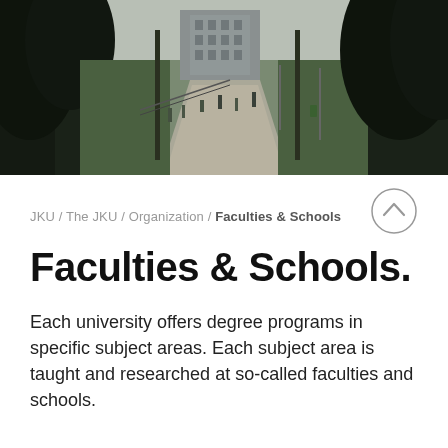[Figure (photo): Campus walkway photo showing students walking along a tree-lined path with university buildings in the background, daytime, green trees on both sides]
JKU / The JKU / Organization / Faculties & Schools
Faculties & Schools.
Each university offers degree programs in specific subject areas. Each subject area is taught and researched at so-called faculties and schools.